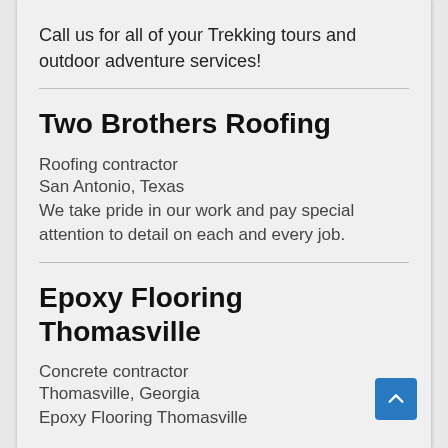Call us for all of your Trekking tours and outdoor adventure services!
Two Brothers Roofing
Roofing contractor
San Antonio, Texas
We take pride in our work and pay special attention to detail on each and every job.
Epoxy Flooring Thomasville
Concrete contractor
Thomasville, Georgia
Epoxy Flooring Thomasville